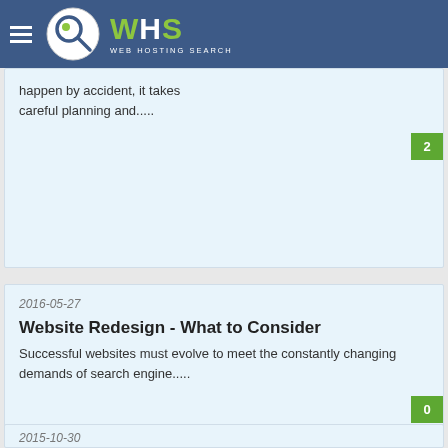WHS Web Hosting Search
happen by accident, it takes careful planning and.....
2
2016-05-27
Website Redesign - What to Consider
Successful websites must evolve to meet the constantly changing demands of search engine.....
0
2015-10-30